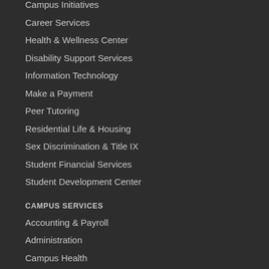Career Services
Health & Wellness Center
Disability Support Services
Information Technology
Make a Payment
Peer Tutoring
Residential Life & Housing
Sex Discrimination & Title IX
Student Financial Services
Student Development Center
CAMPUS SERVICES
Accounting & Payroll
Administration
Campus Health
Campus Security
Campus Sound
Custodial
Employment Opportunities / HR